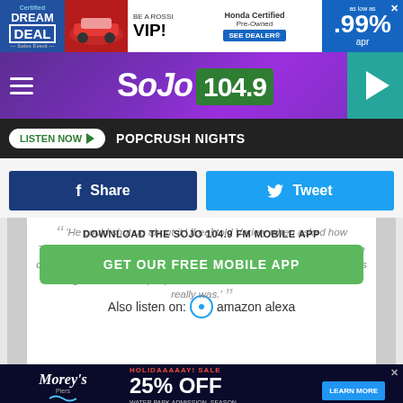[Figure (screenshot): Top advertisement banner: Dream Deal Certified Sales Event, Be A Rossi VIP!, Honda Certified Pre-Owned SEE DEALER, as low as .99% apr]
[Figure (logo): SoJO 104.9 FM radio station header with hamburger menu, purple background, and play button]
[Figure (screenshot): Listen Now button bar with POPCRUSH NIGHTS text on dark background]
[Figure (screenshot): Share (Facebook) and Tweet (Twitter) social media buttons]
[Figure (screenshot): Download the SoJO 104.9 FM Mobile App overlay with GET OUR FREE MOBILE APP button and Also listen on: amazon alexa bar, over italicized quote text about Bruce Lee]
[Figure (screenshot): Bottom advertisement: Morey's Piers Water Parks, HOLIDAAAAAY! SALE 25% OFF WATER PARK ADMISSION, SEASON PASSES, TICKET CARDS, AND MORE. LEARN MORE]